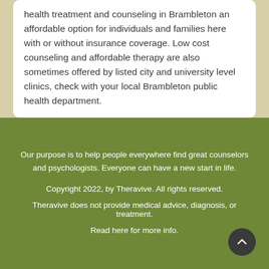health treatment and counseling in Brambleton an affordable option for individuals and families here with or without insurance coverage. Low cost counseling and affordable therapy are also sometimes offered by listed city and university level clinics, check with your local Brambleton public health department.
Our purpose is to help people everywhere find great counselors and psychologists. Everyone can have a new start in life.
Copyright 2022, by Theravive. All rights reserved.
Theravive does not provide medical advice, diagnosis, or treatment.
Read here for more info.